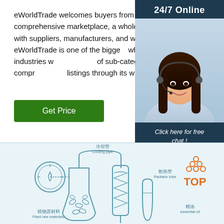eWorldTrade welcomes buyers from all over the world to its comprehensive marketplace, a wholesale center for buyers to connect with suppliers, manufacturers, and wholesalers from around the globe. eWorldTrade is one of the biggest wholesale websites that features 39 industries w... of sub-categories included to serve you a compr... listings through its wholesale directory ...
[Figure (illustration): Dark blue panel on the right with '24/7 Online' header, a photo of a smiling female customer service agent wearing a headset, 'Click here for free chat!' text in italic white, and an orange QUOTATION button.]
Get Price
[Figure (infographic): Light blue infographic showing plant oil extraction process with Chinese and English labels: 植物原材料/Plant raw materials, 冷却管/Cooling pipe, 散热管/Radiator tube, 精油/essential oil. Also shows a TOP logo with orange dots.]